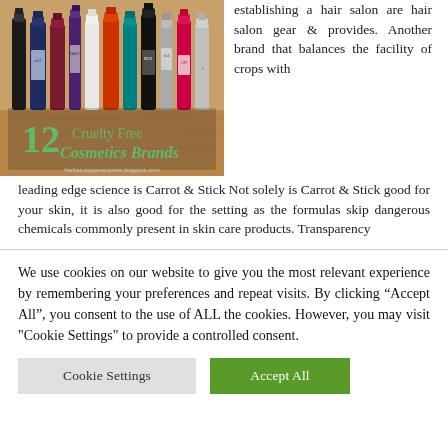[Figure (photo): Photo of nail polish bottles on a table with text overlay '12 Cruelty Free Cosmetics Brands' and website URL thebeautypassportere.blogspot.com]
establishing a hair salon are hair salon gear & provides. Another brand that balances the facility of crops with
leading edge science is Carrot & Stick Not solely is Carrot & Stick good for your skin, it is also good for the setting as the formulas skip dangerous chemicals commonly present in skin care products. Transparency
We use cookies on our website to give you the most relevant experience by remembering your preferences and repeat visits. By clicking “Accept All”, you consent to the use of ALL the cookies. However, you may visit "Cookie Settings" to provide a controlled consent.
Cookie Settings
Accept All